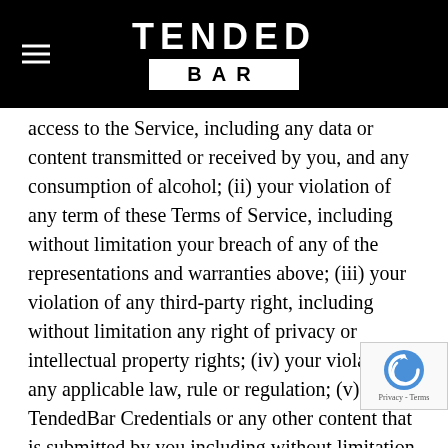TENDED BAR
access to the Service, including any data or content transmitted or received by you, and any consumption of alcohol; (ii) your violation of any term of these Terms of Service, including without limitation your breach of any of the representations and warranties above; (iii) your violation of any third-party right, including without limitation any right of privacy or intellectual property rights; (iv) your violation of any applicable law, rule or regulation; (v) your TendedBar Credentials or any other content that is submitted by you including without limitation misleading, false, or inaccurate information; (vi) your willful misconduct or gross negligence, including, but not limited to overconsumption of alcohol or combining any drug, prescription or not, with alcohol; or (vii) any other party's